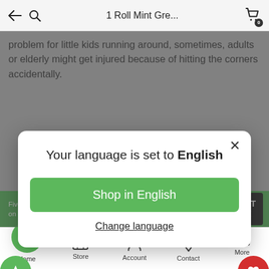1 Roll Mint Gre...
problem for little kids running around, sometimes, adults or elderly might get injured because of hitting the corners accidentally.
[Figure (screenshot): Mobile app modal dialog: 'Your language is set to English' with 'Shop in English' green button and 'Change language' link, floating star and heart buttons on sides, cookie consent bar at bottom, and mobile navigation bar with Home, Store, Account, Contact, More tabs.]